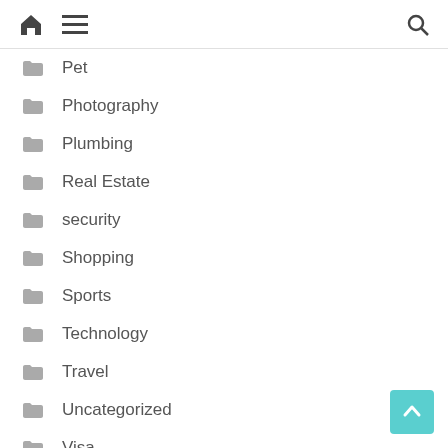Home | Menu | Search
Pet
Photography
Plumbing
Real Estate
security
Shopping
Sports
Technology
Travel
Uncategorized
Visa